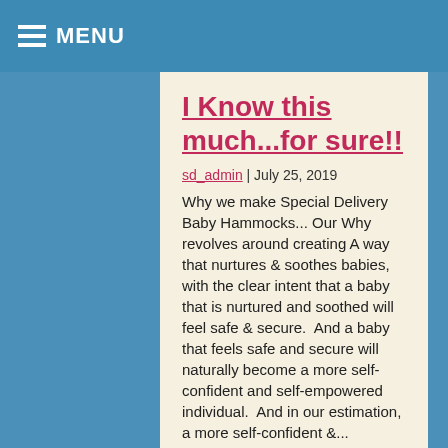MENU
I Know this much...for sure!!
sd_admin | July 25, 2019
Why we make Special Delivery Baby Hammocks... Our Why revolves around creating A way that nurtures & soothes babies, with the clear intent that a baby that is nurtured and soothed will feel safe & secure.  And a baby that feels safe and secure will naturally become a more self-confident and self-empowered individual.  And in our estimation, a more self-confident &...
Continue Reading →